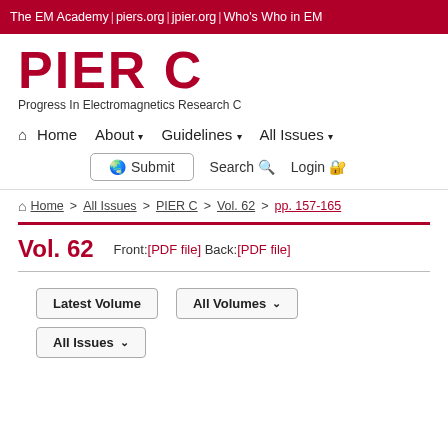The EM Academy | piers.org | jpier.org | Who's Who in EM
PIER C
Progress In Electromagnetics Research C
Home  About ▾  Guidelines ▾  All Issues ▾
Submit  Search  Login
Home > All Issues > PIER C > Vol. 62 > pp. 157-165
Vol. 62
Front:[PDF file] Back:[PDF file]
Latest Volume   All Volumes ▾
All Issues ▾